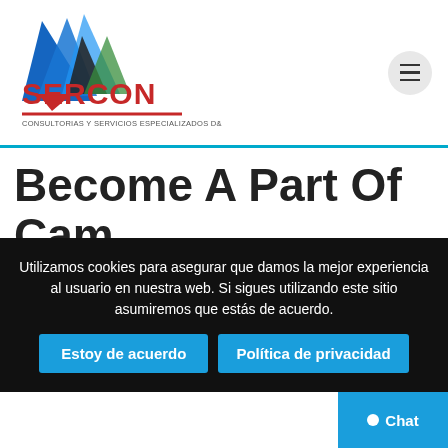[Figure (logo): SERCON logo with colorful triangular graphic above text reading SERCON in red, and subtitle CONSULTORIAS Y SERVICIOS ESPECIALIZADOS D&V SAS]
Become A Part Of Cam Neighborhood
So, when you have your headset, put together to feel much more immersed than you probably did before. It’s like going to a strip membership and asking for a free dance; it would not happen! There are no free webcam sites which might be one hundred pc no-money down.
Utilizamos cookies para asegurar que damos la mejor experiencia al usuario en nuestra web. Si sigues utilizando este sitio asumiremos que estás de acuerdo.
Estoy de acuerdo
Política de privacidad
Chat